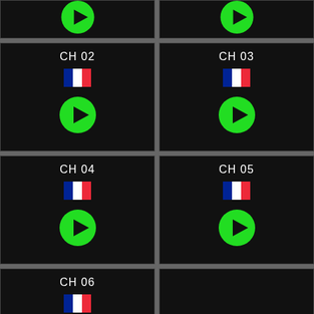[Figure (screenshot): Top-left partial channel cell with green play button]
[Figure (screenshot): Top-right partial channel cell with green play button]
[Figure (screenshot): Channel 02 cell with French flag and green play button]
[Figure (screenshot): Channel 03 cell with French flag and green play button]
[Figure (screenshot): Channel 04 cell with French flag and green play button]
[Figure (screenshot): Channel 05 cell with French flag and green play button]
[Figure (screenshot): Channel 06 cell with French flag and green play button]
[Figure (screenshot): Empty dark cell (no channel)]